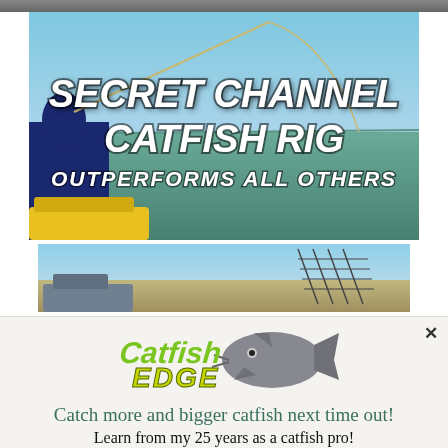[Figure (screenshot): Partial screenshot of a website showing a video thumbnail at the top (cut off), then a fishing video thumbnail with text overlay 'SECRET CHANNEL CATFISH RIG OUTPERFORMS ALL OTHERS', then a second partially visible video thumbnail showing a river/outdoor scene.]
[Figure (logo): Catfish Edge logo with stylized catfish graphic and green/yellow text]
Catch more and bigger catfish next time out!
Learn from my 25 years as a catfish pro!